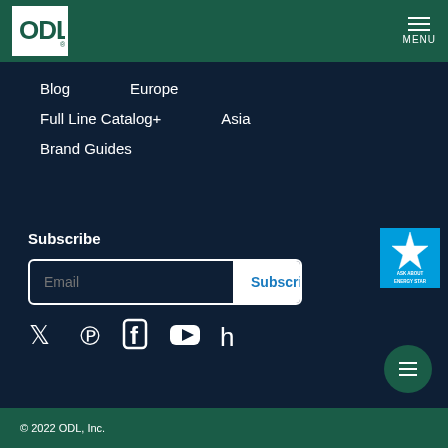ODL logo and MENU
Blog
Europe
Full Line Catalog+
Asia
Brand Guides
Subscribe
[Figure (logo): Energy Star logo with text ASK ABOUT ENERGY STAR]
[Figure (infographic): Social media icons: Twitter, Pinterest, Facebook, YouTube, Houzz]
© 2022 ODL, Inc.